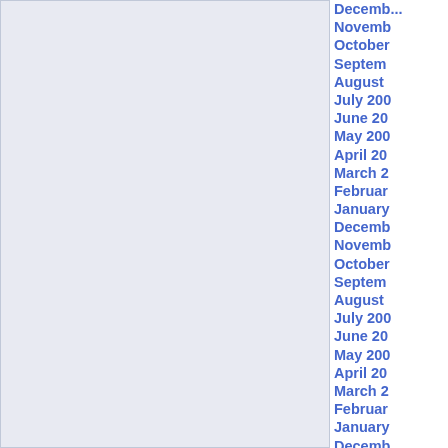[Figure (other): Light blue/lavender rectangular panel on the left side of the page, likely a chart or calendar area with no visible data]
December
November
October
September
August
July 200
June 20
May 200
April 20
March 2
February
January
December
November
October
September
August
July 200
June 20
May 200
April 20
March 2
February
January
December
November
October
September
August
July 200
June 20
May 200
April 20